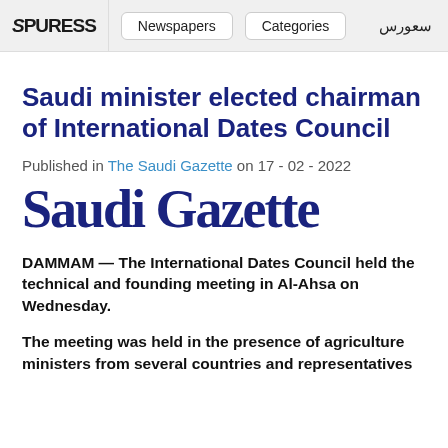SPURESS | Newspapers | Categories | سعورس
Saudi minister elected chairman of International Dates Council
Published in The Saudi Gazette on 17 - 02 - 2022
[Figure (logo): Saudi Gazette newspaper logo in large dark blue bold serif font]
DAMMAM — The International Dates Council held the technical and founding meeting in Al-Ahsa on Wednesday.
The meeting was held in the presence of agriculture ministers from several countries and representatives